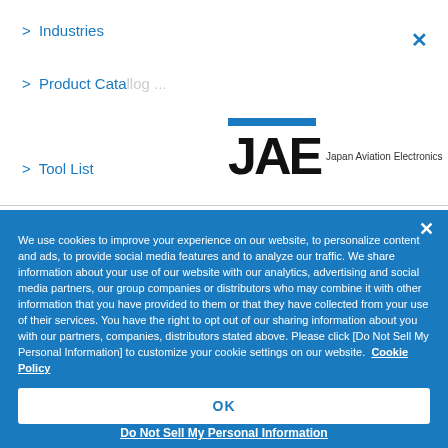> Industries
> Product Cata...
> Tool List
[Figure (logo): JAE - Japan Aviation Electronics logo with blue bar above letters]
We use cookies to improve your experience on our website, to personalize content and ads, to provide social media features and to analyze our traffic. We share information about your use of our website with our analytics, advertising and social media partners, our group companies or distributors who may combine it with other information that you have provided to them or that they have collected from your use of their services. You have the right to opt out of our sharing information about you with our partners, companies, distributors stated above. Please click [Do Not Sell My Personal Information] to customize your cookie settings on our website. Cookie Policy
OK
Do Not Sell My Personal Information